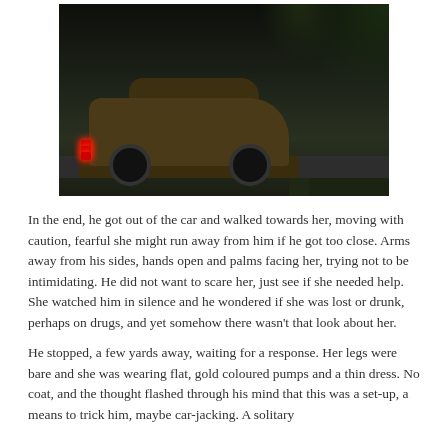[Figure (photo): A dark, nighttime scene showing a vintage muscle car (brown/gold colored) from the rear-side angle, with red taillights glowing. The car is on a road surrounded by dark foliage and trees.]
In the end, he got out of the car and walked towards her, moving with caution, fearful she might run away from him if he got too close. Arms away from his sides, hands open and palms facing her, trying not to be intimidating. He did not want to scare her, just see if she needed help. She watched him in silence and he wondered if she was lost or drunk, perhaps on drugs, and yet somehow there wasn't that look about her.
He stopped, a few yards away, waiting for a response. Her legs were bare and she was wearing flat, gold coloured pumps and a thin dress. No coat, and the thought flashed through his mind that this was a set-up, a means to trick him, maybe car-jacking. A solitary